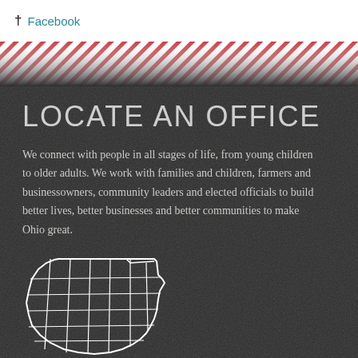Facebook
LOCATE AN OFFICE
We connect with people in all stages of life, from young children to older adults. We work with families and children, farmers and businessowners, community leaders and elected officials to build better lives, better businesses and better communities to make Ohio great.
[Figure (map): Outline map of Ohio showing county boundaries in white lines on dark background]